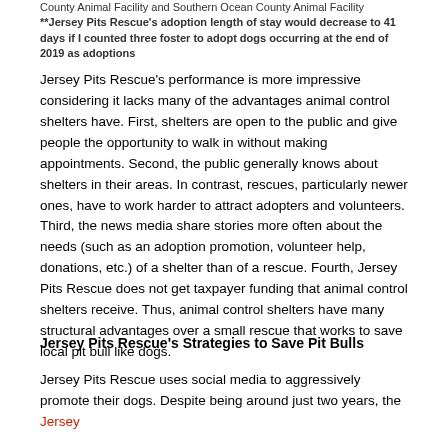County Animal Facility and Southern Ocean County Animal Facility
**Jersey Pits Rescue's adoption length of stay would decrease to 41 days if I counted three foster to adopt dogs occurring at the end of 2019 as adoptions
Jersey Pits Rescue's performance is more impressive considering it lacks many of the advantages animal control shelters have. First, shelters are open to the public and give people the opportunity to walk in without making appointments. Second, the public generally knows about shelters in their areas. In contrast, rescues, particularly newer ones, have to work harder to attract adopters and volunteers. Third, the news media share stories more often about the needs (such as an adoption promotion, volunteer help, donations, etc.) of a shelter than of a rescue. Fourth, Jersey Pits Rescue does not get taxpayer funding that animal control shelters receive. Thus, animal control shelters have many structural advantages over a small rescue that works to save local pit bull like dogs.
Jersey Pits Rescue's Strategies to Save Pit Bulls
Jersey Pits Rescue uses social media to aggressively promote their dogs. Despite being around just two years, the Jersey